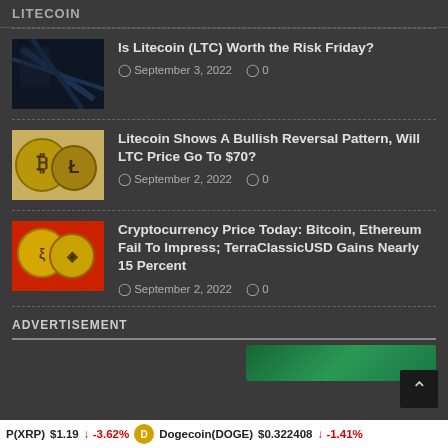LITECOIN
Is Litecoin (LTC) Worth the Risk Friday? — September 3, 2022 — 0 comments
Litecoin Shows A Bullish Reversal Pattern, Will LTC Price Go To $70? — September 2, 2022 — 0 comments
Cryptocurrency Price Today: Bitcoin, Ethereum Fail To Impress; TerraClassicUSD Gains Nearly 15 Percent — September 2, 2022 — 0 comments
ADVERTISEMENT
XRP(XRP) $1.19 ↓ -3.62% Dogecoin(DOGE) $0.322408 ↓ -1.41%